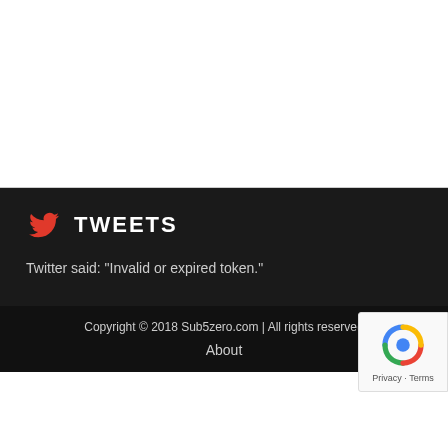TWEETS
Twitter said: "Invalid or expired token."
Copyright © 2018 Sub5zero.com | All rights reserved
About